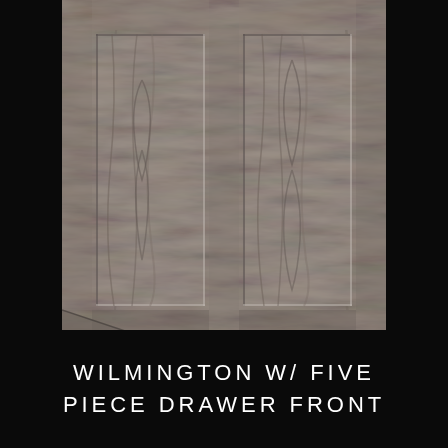[Figure (photo): Close-up photo of a Wilmington cabinet door with five piece drawer front style, showing gray-brown wood grain texture with two recessed rectangular panels side by side, separated by a center stile, with top and bottom rails visible. The door has a flat panel construction in a grayish-brown finish.]
WILMINGTON w/ FIVE PIECE DRAWER FRONT